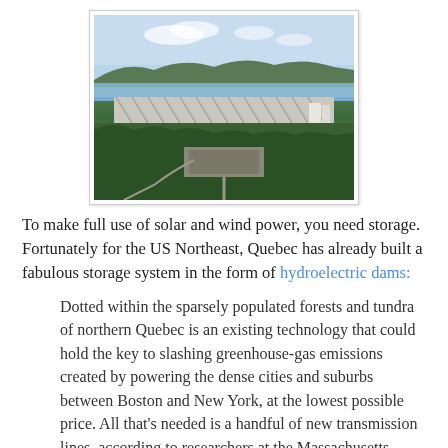[Figure (photo): Aerial photograph of a large hydroelectric dam facility surrounded by forested hills and a lake, with arched structures visible and a small building complex below.]
To make full use of solar and wind power, you need storage. Fortunately for the US Northeast, Quebec has already built a fabulous storage system in the form of hydroelectric dams:
Dotted within the sparsely populated forests and tundra of northern Quebec is an existing technology that could hold the key to slashing greenhouse-gas emissions created by powering the dense cities and suburbs between Boston and New York, at the lowest possible price. All that's needed is a handful of new transmission lines, according to researchers at the Massachusetts Institute of Technology, and the existing network of hydroelectric dams from the Hudson River to the St. Lawrence River and beyond